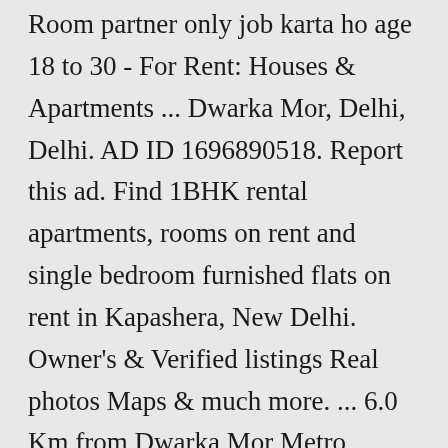Room partner only job karta ho age 18 to 30 - For Rent: Houses & Apartments ... Dwarka Mor, Delhi, Delhi. AD ID 1696890518. Report this ad. Find 1BHK rental apartments, rooms on rent and single bedroom furnished flats on rent in Kapashera, New Delhi. Owner's & Verified listings Real photos Maps & much more. ... 6.0 Km from Dwarka Mor Metro Station; 8731.6 Km from CH Braham Prakash Government Engineering College; View on